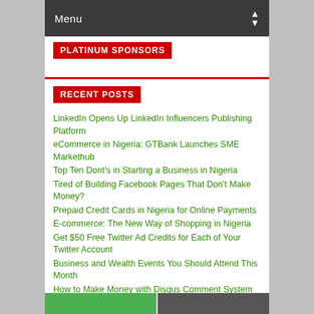Menu
PLATINUM SPONSORS
RECENT POSTS
LinkedIn Opens Up LinkedIn Influencers Publishing Platform
eCommerce in Nigeria: GTBank Launches SME Markethub
Top Ten Dont's in Starting a Business in Nigeria
Tired of Building Facebook Pages That Don't Make Money?
Prepaid Credit Cards in Nigeria for Online Payments
E-commerce: The New Way of Shopping in Nigeria
Get $50 Free Twitter Ad Credits for Each of Your Twitter Account
Business and Wealth Events You Should Attend This Month
How to Make Money with Disqus Comment System
EXCLUSIVE: Konga's Online Selling Opportunity for Nigerians
SILVER SPONSORS